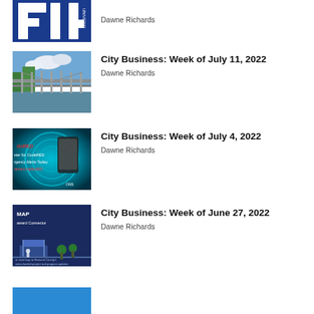[Figure (photo): Partial FIU university logo in blue and white]
Dawne Richards
[Figure (photo): Bridge over water with trees and blue sky]
City Business: Week of July 11, 2022
Dawne Richards
[Figure (photo): CodeRED emergency alerts app screenshot with teal swirl background]
City Business: Week of July 4, 2022
Dawne Richards
[Figure (photo): Broward Connector transit map on dark blue background]
City Business: Week of June 27, 2022
Dawne Richards
[Figure (photo): Partial thumbnail at bottom of page, blue image]